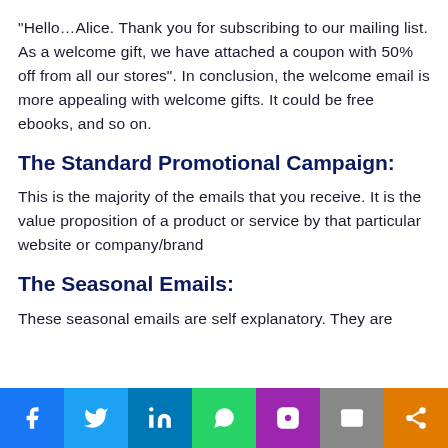“Hello…Alice. Thank you for subscribing to our mailing list. As a welcome gift, we have attached a coupon with 50% off from all our stores”. In conclusion, the welcome email is more appealing with welcome gifts. It could be free ebooks, and so on.
The Standard Promotional Campaign:
This is the majority of the emails that you receive. It is the value proposition of a product or service by that particular website or company/brand
The Seasonal Emails:
These seasonal emails are self explanatory. They are
[Figure (infographic): Social sharing bar with icons for Facebook, Twitter, LinkedIn, WhatsApp, Instagram, Email, and Share]